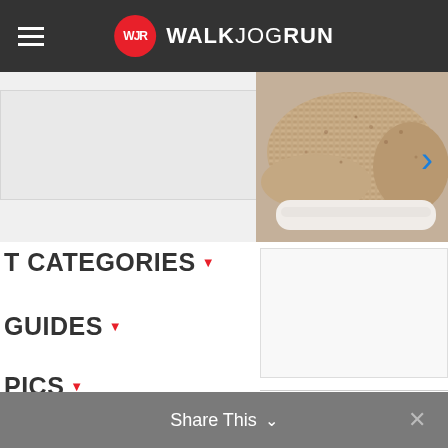WALKJOGRUN
[Figure (photo): Partial view of a beige/rose gold knitted athletic shoe with white sole, shown from the side with a blue arrow navigation element]
T CATEGORIES ▾
GUIDES ▾
PICS ▾
Share This ⌄  ✕